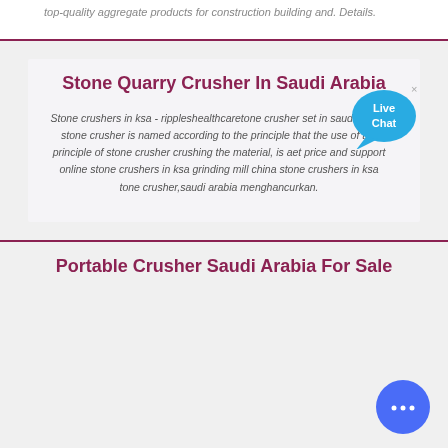top-quality aggregate products for construction building and. Details.
Stone Quarry Crusher In Saudi Arabia
Stone crushers in ksa - rippleshealthcaretone crusher set in saudi arabia stone crusher is named according to the principle that the use of the principle of stone crusher crushing the material, is aet price and support online stone crushers in ksa grinding mill china stone crushers in ksa tone crusher,saudi arabia menghancurkan.
Portable Crusher Saudi Arabia For Sale